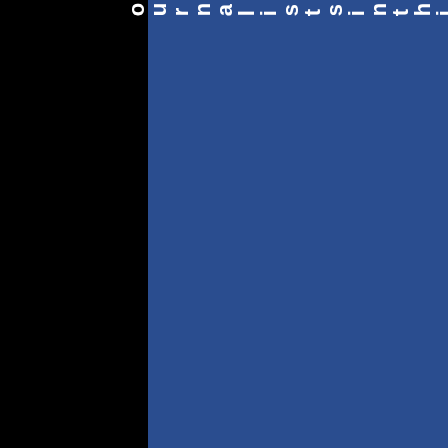[Figure (illustration): Dark blue rectangular panel covering most of the page with vertical text reading 'ournalists in this short positi' (partial text visible, rotated 90 degrees) in white bold font along the right edge, some letters fading to lighter color toward the bottom.]